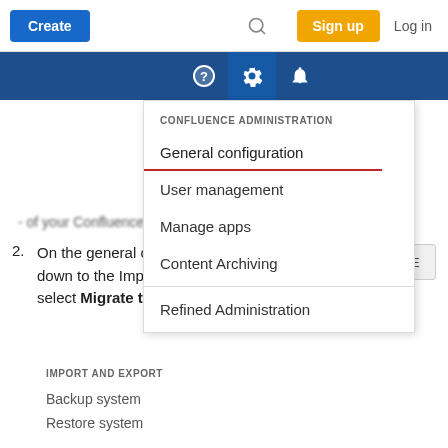[Figure (screenshot): Top navigation bar of a web application with a blue 'Create' button, search icon, orange 'Sign up' button, and 'Log in' text link.]
[Figure (screenshot): Confluence administration dropdown menu showing options: General configuration (underlined in red), User management, Manage apps, Content Archiving, and Refined Administration. An edit pencil button is partially visible on the right.]
On the general configuration page, you will need to scroll down to the Import and Export section of the menu and select Migrate to cloud.
[Figure (screenshot): Partial view of a Confluence administration Import and Export section showing 'Backup system' and 'Restore system' menu items.]